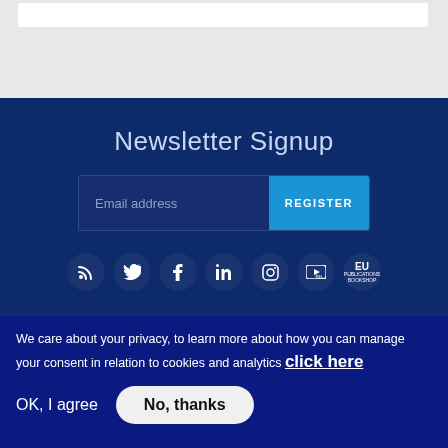[Figure (screenshot): Top grey section with a white navigation bar]
Newsletter Signup
[Figure (screenshot): Email address input field with blue REGISTER button]
[Figure (infographic): Row of 7 social media icons: RSS, Twitter, Facebook, LinkedIn, Instagram, YouTube, EU Bookshop]
We care about your privacy, to learn more about how you can manage your consent in relation to cookies and analytics click here
OK, I agree
No, thanks